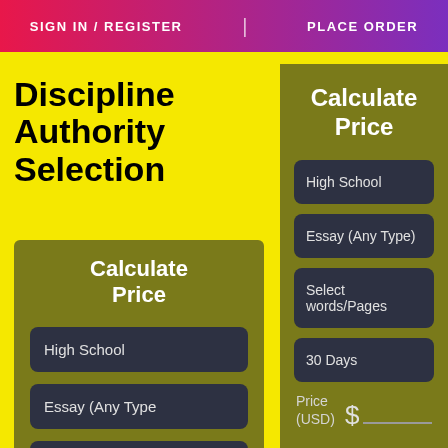SIGN IN / REGISTER | PLACE ORDER
Discipline Authority Selection
Calculate Price
High School
Essay (Any Type
Select words/Pa
Calculate Price
High School
Essay (Any Type)
Select words/Pages
30 Days
Price (USD) $